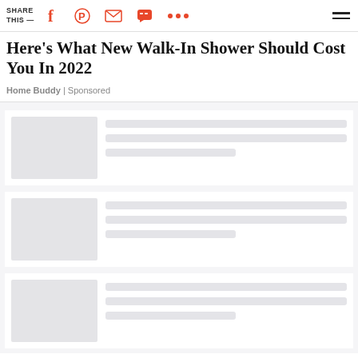SHARE THIS —
Here's What New Walk-In Shower Should Cost You In 2022
Home Buddy | Sponsored
[Figure (other): Loading skeleton card 1: thumbnail placeholder on left, three text line placeholders on right]
[Figure (other): Loading skeleton card 2: thumbnail placeholder on left, three text line placeholders on right]
[Figure (other): Loading skeleton card 3: thumbnail placeholder on left, three text line placeholders on right]